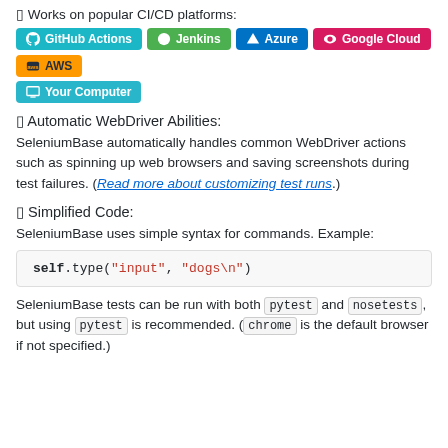🔲 Works on popular CI/CD platforms:
[Figure (infographic): CI/CD platform badges: GitHub Actions (teal), Jenkins (green), Azure (blue), Google Cloud (pink), AWS (orange), Your Computer (teal)]
🔲 Automatic WebDriver Abilities:
SeleniumBase automatically handles common WebDriver actions such as spinning up web browsers and saving screenshots during test failures. (Read more about customizing test runs.)
🔲 Simplified Code:
SeleniumBase uses simple syntax for commands. Example:
[Figure (screenshot): Code block showing: self.type("input", "dogs\n")]
SeleniumBase tests can be run with both pytest and nosetests, but using pytest is recommended. (chrome is the default browser if not specified.)